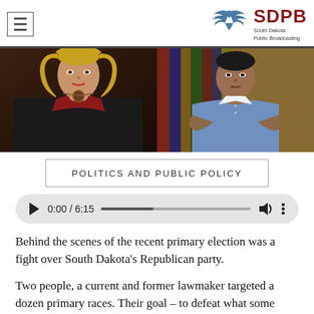[Figure (logo): SDPB South Dakota Public Broadcasting logo with eagle/phoenix icon and red text]
[Figure (photo): Two people side by side: a woman with blonde hair in a dark jacket on the left, and a man in a light blue shirt with arms crossed seated in front of law books on the right]
POLITICS AND PUBLIC POLICY
[Figure (other): Audio player showing 0:00 / 6:15 with play button, progress bar, volume and more controls]
Behind the scenes of the recent primary election was a fight over South Dakota's Republican party.
Two people, a current and former lawmaker targeted a dozen primary races. Their goal – to defeat what some